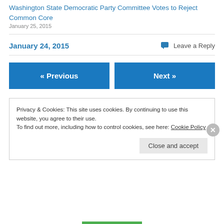Washington State Democratic Party Committee Votes to Reject Common Core
January 25, 2015
January 24, 2015
Leave a Reply
« Previous
Next »
Privacy & Cookies: This site uses cookies. By continuing to use this website, you agree to their use.
To find out more, including how to control cookies, see here: Cookie Policy
Close and accept